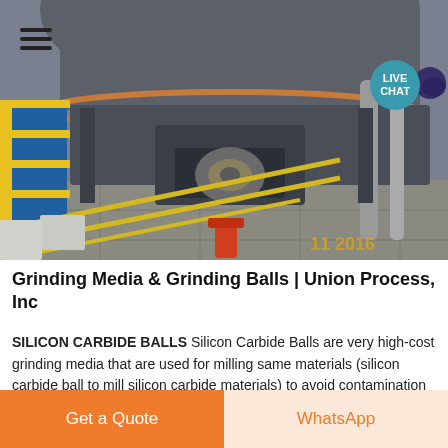[Figure (photo): Industrial photograph of large grinding mill equipment viewed from below/side angle, showing heavy machinery with metal components, copper-colored ring, structural framework, yellow safety barriers, and piping. Timestamp visible in lower right corner.]
Grinding Media & Grinding Balls | Union Process, Inc
SILICON CARBIDE BALLS Silicon Carbide Balls are very high-cost grinding media that are used for milling same materials (silicon carbide ball to mill silicon carbide materials) to avoid contamination They are only
Get a Quote
WhatsApp